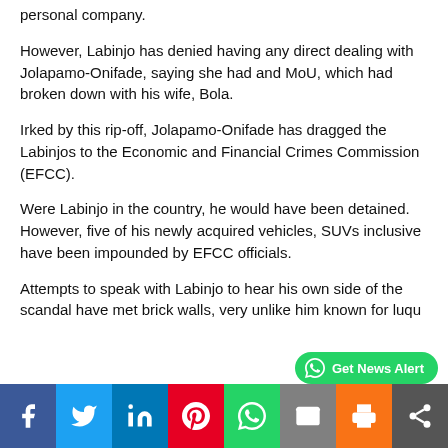personal company.
However, Labinjo has denied having any direct dealing with Jolapamo-Onifade, saying she had and MoU, which had broken down with his wife, Bola.
Irked by this rip-off, Jolapamo-Onifade has dragged the Labinjos to the Economic and Financial Crimes Commission (EFCC).
Were Labinjo in the country, he would have been detained. However, five of his newly acquired vehicles, SUVs inclusive have been impounded by EFCC officials.
Attempts to speak with Labinjo to hear his own side of the scandal have met brick walls, very unlike him known for luqu…
[Figure (infographic): Social media sharing bar at the bottom with Facebook, Twitter, LinkedIn, Pinterest, WhatsApp, Email, Print, and Share buttons. A green WhatsApp 'Get News Alert' button overlays the bottom-right area.]